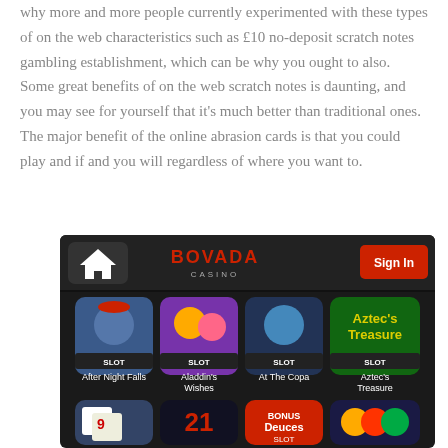why more and more people currently experimented with these types of on the web characteristics such as £10 no-deposit scratch notes gambling establishment, which can be why you ought to also. Some great benefits of on the web scratch notes is daunting, and you may see for yourself that it's much better than traditional ones. The major benefit of the online abrasion cards is that you could play and if and you will regardless of where you want to.
[Figure (screenshot): Screenshot of Bovada Casino mobile app interface showing a dark header with a home icon, BOVADA CASINO logo in red, and a red Sign In button. Below are game thumbnails: After Night Falls, Aladdin's Wishes, At The Copa, Aztec's Treasure (all labeled SLOT), and a second row of game thumbnails partially visible.]